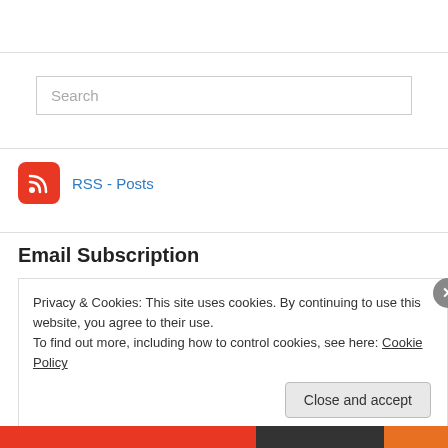[Figure (other): Search input box with placeholder text 'Search']
[Figure (other): RSS feed icon (red rounded square with white RSS symbol) followed by blue link text 'RSS - Posts']
Email Subscription
Privacy & Cookies: This site uses cookies. By continuing to use this website, you agree to their use.
To find out more, including how to control cookies, see here: Cookie Policy
Close and accept